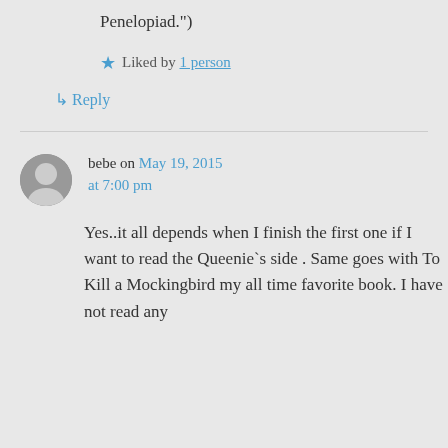Penelopiad.")
★ Liked by 1 person
↳ Reply
bebe on May 19, 2015 at 7:00 pm
Yes..it all depends when I finish the first one if I want to read the Queenie`s side . Same goes with To Kill a Mockingbird my all time favorite book. I have not read any